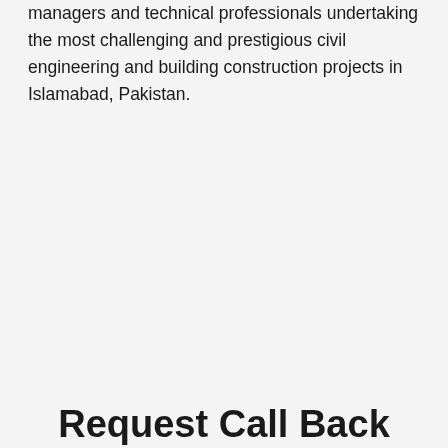managers and technical professionals undertaking the most challenging and prestigious civil engineering and building construction projects in Islamabad, Pakistan.
Request Call Back